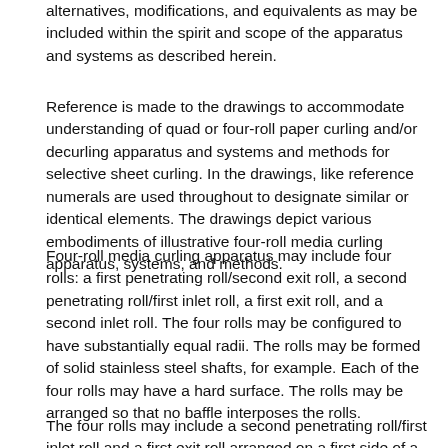alternatives, modifications, and equivalents as may be included within the spirit and scope of the apparatus and systems as described herein.
Reference is made to the drawings to accommodate understanding of quad or four-roll paper curling and/or decurling apparatus and systems and methods for selective sheet curling. In the drawings, like reference numerals are used throughout to designate similar or identical elements. The drawings depict various embodiments of illustrative four-roll media curling apparatus, systems, and methods.
Four-roll media curling apparatus may include four rolls: a first penetrating roll/second exit roll, a second penetrating roll/first inlet roll, a first exit roll, and a second inlet roll. The four rolls may be configured to have substantially equal radii. The rolls may be formed of solid stainless steel shafts, for example. Each of the four rolls may have a hard surface. The rolls may be arranged so that no baffle interposes the rolls.
The four rolls may include a second penetrating roll/first inlet roll and a first exit roll arranged on a first side of a